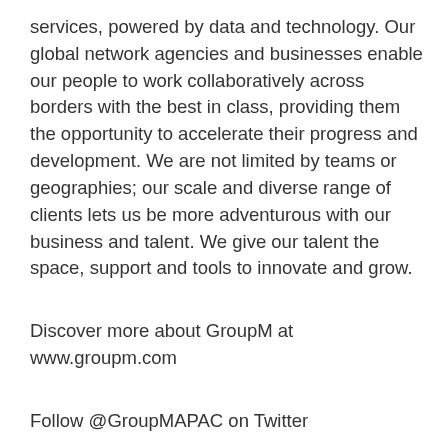services, powered by data and technology. Our global network agencies and businesses enable our people to work collaboratively across borders with the best in class, providing them the opportunity to accelerate their progress and development. We are not limited by teams or geographies; our scale and diverse range of clients lets us be more adventurous with our business and talent. We give our talent the space, support and tools to innovate and grow.
Discover more about GroupM at www.groupm.com
Follow @GroupMAPAC on Twitter
Follow GroupM on LinkedIn -